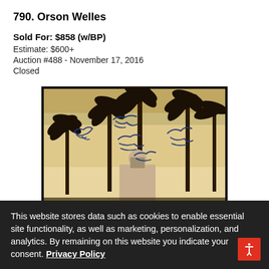790. Orson Welles
Sold For: $858 (w/BP)
Estimate: $600+
Auction #488 - November 17, 2016
Closed
[Figure (photo): Signed album cover showing Hotel California by Eagles with palm trees and multiple signatures in blue ink]
This website stores data such as cookies to enable essential site functionality, as well as marketing, personalization, and analytics. By remaining on this website you indicate your consent. Privacy Policy